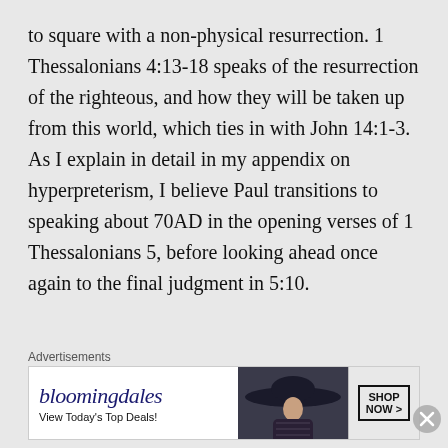to square with a non-physical resurrection. 1 Thessalonians 4:13-18 speaks of the resurrection of the righteous, and how they will be taken up from this world, which ties in with John 14:1-3. As I explain in detail in my appendix on hyperpreterism, I believe Paul transitions to speaking about 70AD in the opening verses of 1 Thessalonians 5, before looking ahead once again to the final judgment in 5:10.
Advertisements
[Figure (other): Bloomingdale's advertisement banner showing logo, 'View Today's Top Deals!' tagline, image of woman with hat, and 'SHOP NOW >' button]